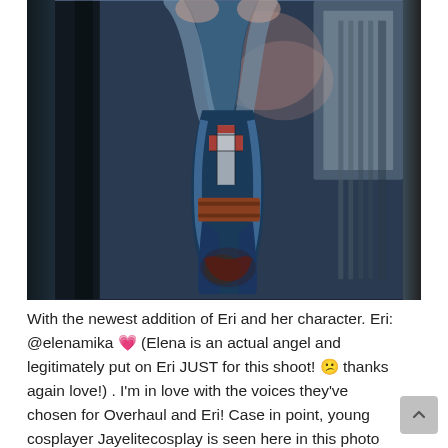[Figure (photo): A cosplayer in a detailed costume with blue and red elements, photographed from behind/side, arms raised, dark moody dramatic lighting with bokeh background. The face/head is blurred. The costume appears to be a character from anime/manga (possibly from My Hero Academia).]
With the newest addition of Eri and her character. Eri: @elenamika 🌸 (Elena is an actual angel and legitimately put on Eri JUST for this shoot! 😊 thanks again love!) . I'm in love with the voices they've chosen for Overhaul and Eri! Case in point, young cosplayer Jayelitecosplay is seen here in this photo